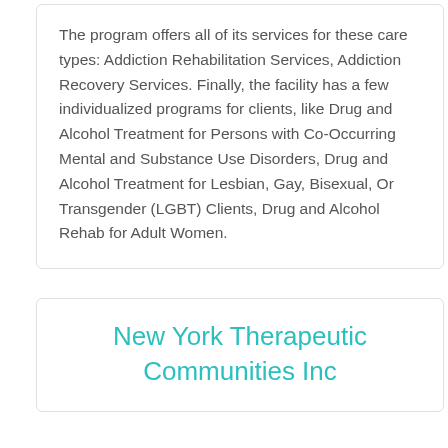The program offers all of its services for these care types: Addiction Rehabilitation Services, Addiction Recovery Services. Finally, the facility has a few individualized programs for clients, like Drug and Alcohol Treatment for Persons with Co-Occurring Mental and Substance Use Disorders, Drug and Alcohol Treatment for Lesbian, Gay, Bisexual, Or Transgender (LGBT) Clients, Drug and Alcohol Rehab for Adult Women.
New York Therapeutic Communities Inc